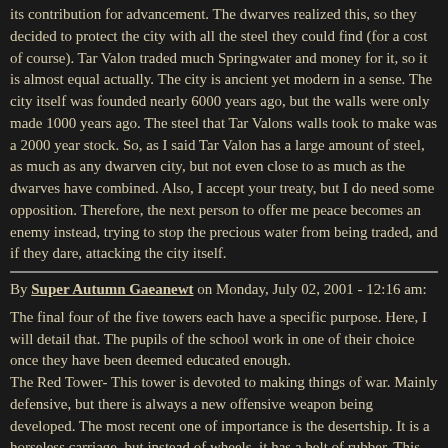its contribution for advancement. The dwarves realized this, so they decided to protect the city with all the steel they could find (for a cost of course). Tar Valon traded much Springwater and money for it, so it is almost equal actually. The city is ancient yet modern in a sense. The city itself was founded nearly 6000 years ago, but the walls were only made 1000 years ago. The steel that Tar Valons walls took to make was a 2000 year stock. So, as I said Tar Valon has a large amount of steel, as much as any dwarven city, but not even close to as much as the dwarves have combined. Also, I accept your treaty, but I do need some opposition. Therefore, the next person to offer me peace becomes an enemy instead, trying to stop the precious water from being traded, and if they dare, attacking the city itself.
By Super Autumn Gaeanewt on Monday, July 02, 2001 - 12:16 am:
The final four of the five towers each have a specific purpose. Here, I will detail that. The pupils of the school work in one of their choice once they have been deemed educated enough.
The Red Tower- This tower is devoted to making things of war. Mainly defensive, but there is always a new offensive weapon being developed. The most recent one of importance is the desertship. It is a horseless carriage, but instead of wheels, it has a belt of rubber. This was recently invented in the Green Tower, as it comes from a tree. It has amazing properties that we are just now discovering. We share this secret with our allies, in exchange for theirs. Back to the desertship. It has arrowslits to shoot out of, but its true power is in its firetube. It is a small tube, that when you hit a piece of flint with a hammer, it hits an explosive powder that when it explodes, it projects a small rubber ball that when it hits, it explodes propelling phlegm contagious with the black plague everywhere. As you can see this is a powerfull weapon. We found a way to store the plague in